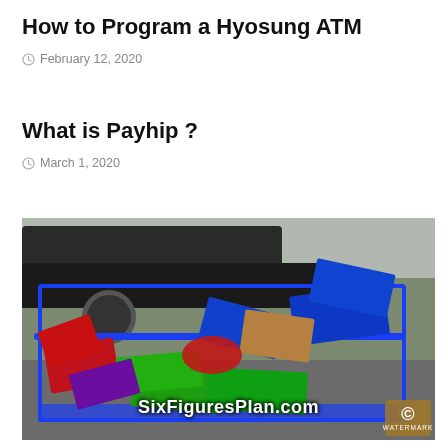How to Program a Hyosung ATM
February 12, 2020
What is Payhip ?
March 1, 2020
[Figure (photo): Shopping cart in a parking lot overflowing with cases of Pepsi, Mountain Dew, Crush, and other soda brands. Watermark reads SixFiguresPlan.com with a copyright badge in the lower right.]